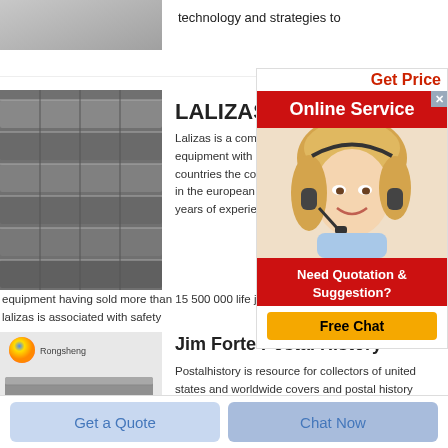[Figure (photo): Gray boxes stacked, top-left corner]
technology and strategies to
Get Price
[Figure (photo): Online Service banner with red background]
[Figure (photo): Industrial metal cylinders/rods stacked in rows]
LALIZAS
Lalizas is a company that manufactures marine safety equipment with a co countries the company in the european ma years of experience
equipment having sold more than 15 500 000 life jacke lalizas is associated with safety
[Figure (photo): Customer service woman with headset smiling]
Need Quotation & Suggestion?
Free Chat
[Figure (photo): Rongsheng logo and gray refractory brick block]
Jim Forte Postal History
Postalhistory is resource for collectors of united states and worldwide covers and postal history the site offers over 200 000 covers for sale the
Get a Quote
Chat Now